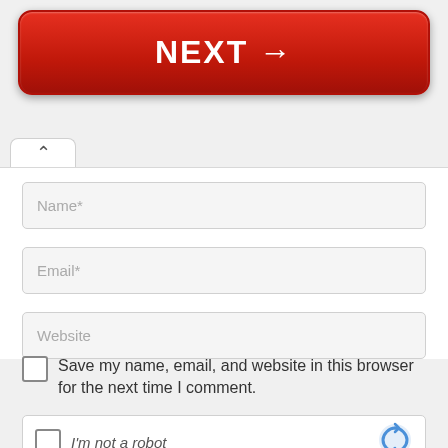[Figure (screenshot): Large red NEXT button with right arrow, rounded rectangle style]
[Figure (screenshot): Collapse/up arrow tab button]
Name*
Email*
Website
Save my name, email, and website in this browser for the next time I comment.
[Figure (screenshot): reCAPTCHA widget with checkbox and 'I'm not a robot' text and reCAPTCHA logo]